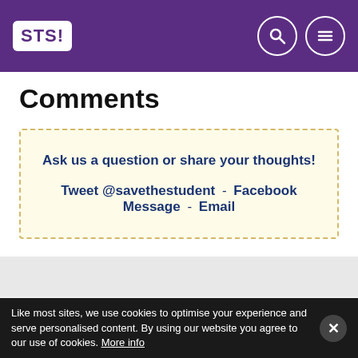STS! [logo] — navigation header with search and menu icons
Comments
Ask us a question or share your thoughts!
Tweet @savethestudent - Facebook Message - Email
[Figure (logo): Media outlet logos: BBC NEWS, The Guardian, The Times, Independent, HuffPost]
Like most sites, we use cookies to optimise your experience and serve personalised content. By using our website you agree to our use of cookies. More info